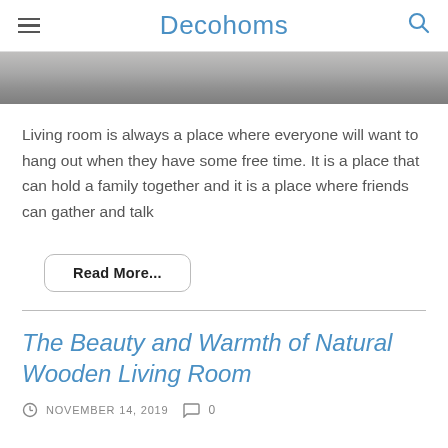Decohoms
[Figure (photo): Gray textured surface/concrete image hero banner]
Living room is always a place where everyone will want to hang out when they have some free time. It is a place that can hold a family together and it is a place where friends can gather and talk
Read More...
The Beauty and Warmth of Natural Wooden Living Room
NOVEMBER 14, 2019  0